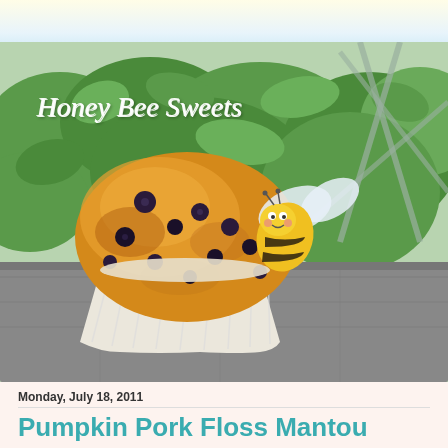Honey Bee Sweets
[Figure (photo): A golden blueberry muffin in a white paper cup, set on a stone surface with green leafy plants in the background. A cartoon bee illustration is overlaid in the upper right area. Text 'Honey Bee Sweets' is overlaid on the image in white script.]
Monday, July 18, 2011
Pumpkin Pork Floss Mantou